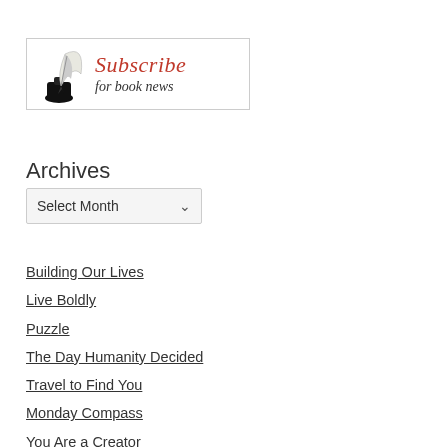[Figure (illustration): Subscribe for book news banner with quill pen and ink bottle illustration. Text reads 'Subscribe for book news' in italic serif font with red and dark coloring.]
Archives
Select Month
Building Our Lives
Live Boldly
Puzzle
The Day Humanity Decided
Travel to Find You
Monday Compass
You Are a Creator
Society's Thin Veneer